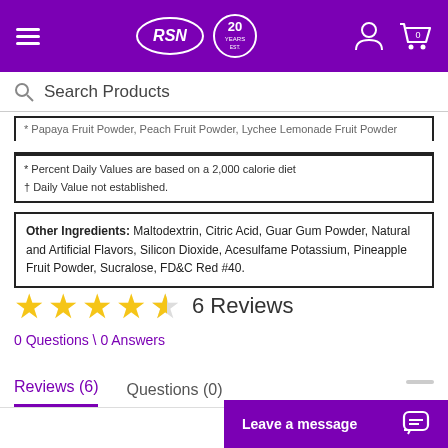[Figure (screenshot): ASN brand website header with purple background, hamburger menu, ASN logo with 20 years badge, user icon, and cart icon]
Search Products
* Papaya Fruit Powder, Peach Fruit Powder, Lychee Lemonade Fruit Powder
* Percent Daily Values are based on a 2,000 calorie diet
† Daily Value not established.
Other Ingredients: Maltodextrin, Citric Acid, Guar Gum Powder, Natural and Artificial Flavors, Silicon Dioxide, Acesulfame Potassium, Pineapple Fruit Powder, Sucralose, FD&C Red #40.
6 Reviews
0 Questions \ 0 Answers
Reviews (6)
Questions (0)
Leave a message